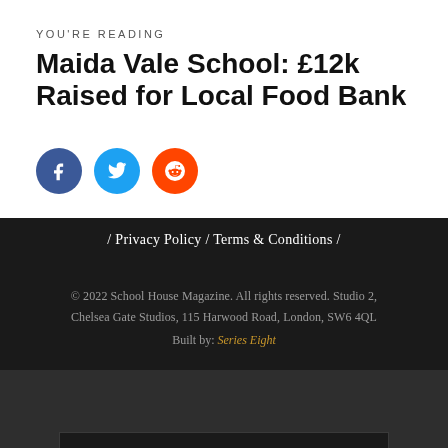YOU'RE READING
Maida Vale School: £12k Raised for Local Food Bank
[Figure (other): Three social media sharing buttons: Facebook (dark blue circle with f icon), Twitter (light blue circle with bird icon), Reddit (orange circle with alien icon)]
/ Privacy Policy / Terms & Conditions /
© 2022 School House Magazine. All rights reserved. Studio 2, Chelsea Gate Studios, 115 Harwood Road, London, SW6 4QL
Built by: Series Eight
Sign up to our newsletter for the best of School House